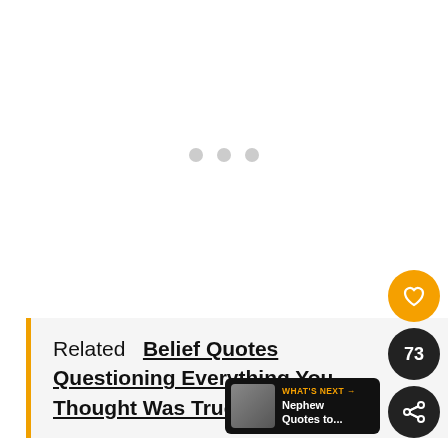[Figure (other): White loading area with three gray dots in the center, indicating a loading state]
Related   Belief Quotes Questioning Everything You Thought Was True
[Figure (other): Orange circular heart/favorite button icon]
73
[Figure (other): Dark circular share button icon]
[Figure (other): What's Next banner showing 'WHAT'S NEXT →' label and 'Nephew Quotes to...' with thumbnail]